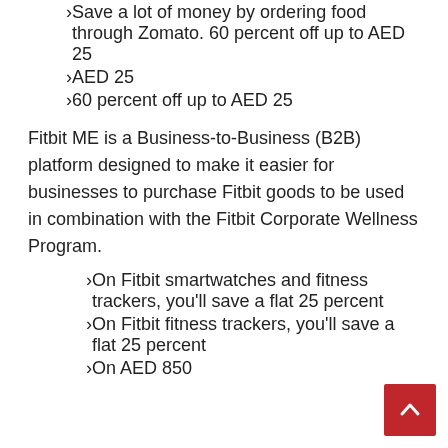Save a lot of money by ordering food through Zomato. 60 percent off up to AED 25
AED 25
60 percent off up to AED 25
Fitbit ME is a Business-to-Business (B2B) platform designed to make it easier for businesses to purchase Fitbit goods to be used in combination with the Fitbit Corporate Wellness Program.
On Fitbit smartwatches and fitness trackers, you'll save a flat 25 percent
On Fitbit fitness trackers, you'll save a flat 25 percent
On AED 850